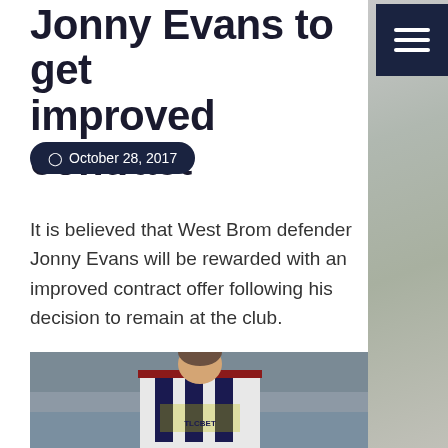Jonny Evans to get improved contract
October 28, 2017
It is believed that West Brom defender Jonny Evans will be rewarded with an improved contract offer following his decision to remain at the club.
[Figure (photo): Jonny Evans in West Brom TLCBET kit on a football pitch with blurred crowd background]